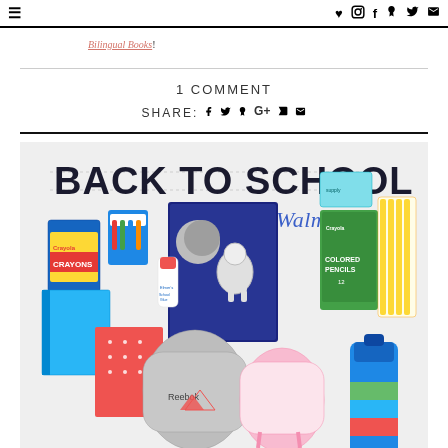= (menu) | ♥ Instagram f Pinterest Twitter Email
Bilingual Books!
1 COMMENT
SHARE: f Twitter Pinterest G+ StumbleUpon Email
[Figure (photo): Back to School with Walmart promotional image showing school supplies including Crayola crayons, colored pencils, glue, notebooks, Reebok backpack, pink backpack, water bottle, and an astronaut-themed notebook on a light background with bold text 'BACK TO SCHOOL with Walmart!']